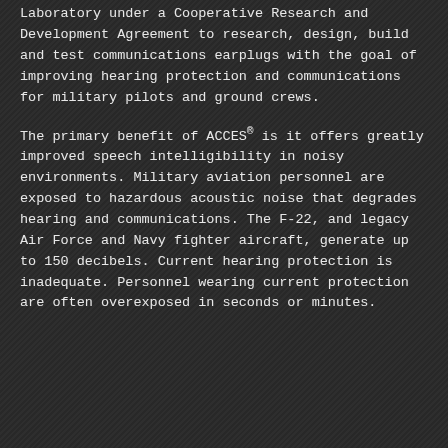Laboratory under a Cooperative Research and Development Agreement to research, design, build and test communications earplugs with the goal of improving hearing protection and communications for military pilots and ground crews.
The primary benefit of ACCES® is it offers greatly improved speech intelligibility in noisy environments. Military aviation personnel are exposed to hazardous acoustic noise that degrades hearing and communications. The F-22, and legacy Air Force and Navy fighter aircraft, generate up to 150 decibels. Current hearing protection is inadequate. Personnel wearing current protection are often overexposed in seconds or minutes.